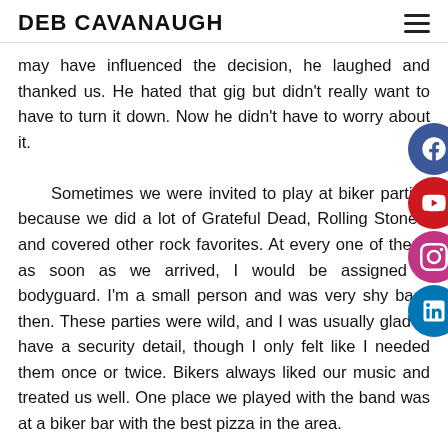DEB CAVANAUGH
may have influenced the decision, he laughed and thanked us. He hated that gig but didn't really want to have to turn it down. Now he didn't have to worry about it.

Sometimes we were invited to play at biker parties because we did a lot of Grateful Dead, Rolling Stones, and covered other rock favorites. At every one of them, as soon as we arrived, I would be assigned a bodyguard. I'm a small person and was very shy back then. These parties were wild, and I was usually glad to have a security detail, though I only felt like I needed them once or twice. Bikers always liked our music and treated us well. One place we played with the band was at a biker bar with the best pizza in the area.